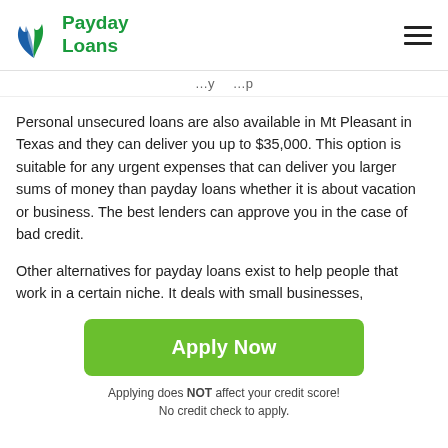Payday Loans
…y…p
Personal unsecured loans are also available in Mt Pleasant in Texas and they can deliver you up to $35,000. This option is suitable for any urgent expenses that can deliver you larger sums of money than payday loans whether it is about vacation or business. The best lenders can approve you in the case of bad credit.
Other alternatives for payday loans exist to help people that work in a certain niche. It deals with small businesses,
[Figure (other): Green Apply Now button]
Applying does NOT affect your credit score!
No credit check to apply.